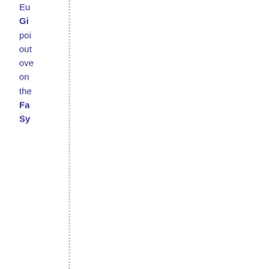Eu
Gi
poi
out
ove
on
the
Fa
Sy